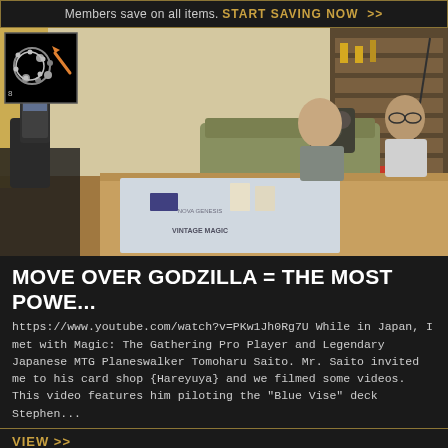Members save on all items. START SAVING NOW >>
[Figure (photo): Two Japanese men sitting at a wooden table with a Magic: The Gathering play mat reading 'VINTAGE MAGIC', one placing a card. A person filming with a smartphone on a gimbal is visible in the foreground. Background shows a living room with a couch and bookshelves with trophies.]
MOVE OVER GODZILLA = THE MOST POWE...
https://www.youtube.com/watch?v=PKw1Jh0Rg7U While in Japan, I met with Magic: The Gathering Pro Player and Legendary Japanese MTG Planeswalker Tomoharu Saito. Mr. Saito invited me to his card shop {Hareyuya} and we filmed some videos. This video features him piloting the "Blue Vise" deck Stephen...
VIEW >>